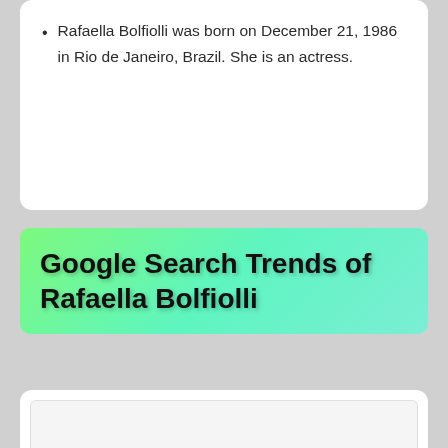Rafaella Bolfiolli was born on December 21, 1986 in Rio de Janeiro, Brazil. She is an actress.
Google Search Trends of Rafaella Bolfiolli
Rafaella Bolfiolli's search trend from the last 12 months (The below graph report is directly fetched from the 'Google Trends'):
[Figure (other): Empty Google Trends graph area placeholder]